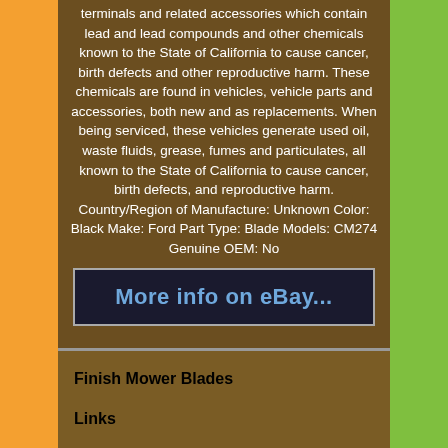terminals and related accessories which contain lead and lead compounds and other chemicals known to the State of California to cause cancer, birth defects and other reproductive harm. These chemicals are found in vehicles, vehicle parts and accessories, both new and as replacements. When being serviced, these vehicles generate used oil, waste fluids, grease, fumes and particulates, all known to the State of California to cause cancer, birth defects, and reproductive harm. Country/Region of Manufacture: Unknown Color: Black Make: Ford Part Type: Blade Models: CM274 Genuine OEM: No
[Figure (screenshot): eBay listing button - blue text 'More info on eBay...' on dark background with grey border]
Finish Mower Blades
Links
Contact Us
Privacy Policies